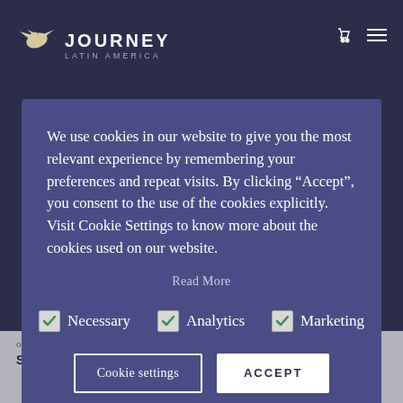[Figure (logo): Journey Latin America logo with bird and text]
We use cookies in our website to give you the most relevant experience by remembering your preferences and repeat visits. By clicking “Accept”, you consent to the use of the cookies explicitly. Visit Cookie Settings to know more about the cookies used on our website.
Read More
☑ Necessary  ☑ Analytics  ☑ Marketing
Cookie settings   ACCEPT
of dip.
STUFFED BUTTERNUT SQUASH WITH QUINOA, SAGE